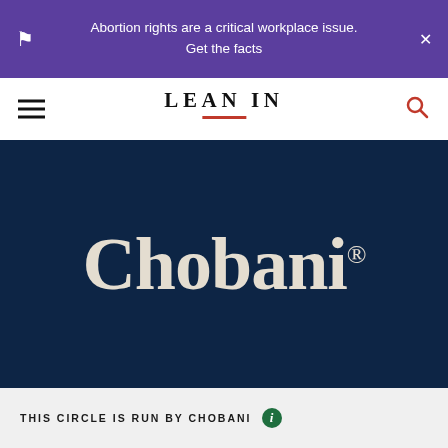Abortion rights are a critical workplace issue. Get the facts
[Figure (logo): LEAN IN navigation bar with hamburger menu on left and search icon on right]
[Figure (logo): Chobani logo in white serif font on dark navy blue background]
THIS CIRCLE IS RUN BY CHOBANI